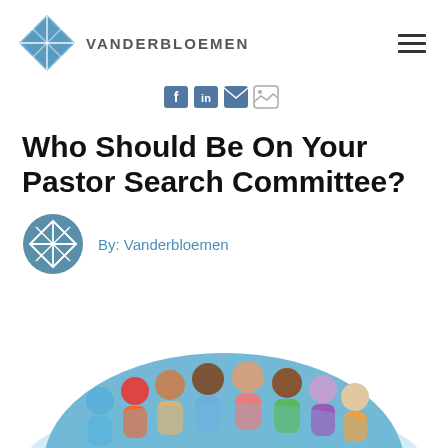[Figure (logo): Vanderbloemen logo with blue diamond/star shape and text VANDERBLOEMEN, plus hamburger menu icon]
[Figure (infographic): Social sharing icons: Facebook, LinkedIn, Email, and image share buttons in blue]
Who Should Be On Your Pastor Search Committee?
[Figure (logo): Vanderbloemen circular avatar logo in steel blue with white diamond/star icon]
By: Vanderbloemen
[Figure (illustration): Group of diverse people illustrated in colorful flat design style, partially visible at bottom of page]